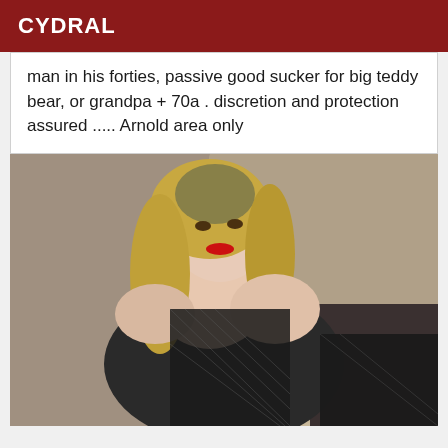CYDRAL
man in his forties, passive good sucker for big teddy bear, or grandpa + 70a . discretion and protection assured ..... Arnold area only
[Figure (photo): A blonde woman wearing a black fishnet/lace bodysuit, posed against a beige/brown background, looking at the camera with red lipstick.]